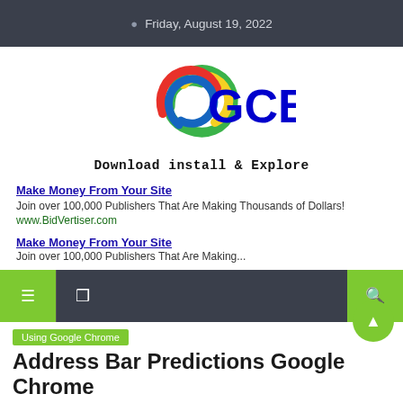Friday, August 19, 2022
[Figure (logo): GCB colorful swirl logo with text 'GCB' in blue and tagline 'Download install & Explore']
Make Money From Your Site
Join over 100,000 Publishers That Are Making Thousands of Dollars!
www.BidVertiser.com
Make Money From Your Site
Join over 100,000 Publishers That Are Making...
[Figure (screenshot): Dark navigation bar with green menu button, bookmark icon, and green search icon]
Using Google Chrome
Address Bar Predictions Google Chrome